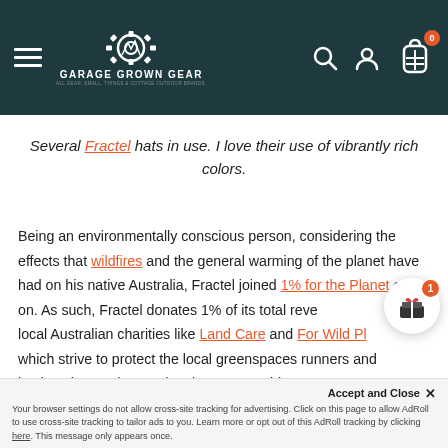Garage Grown Gear — navigation header
Several Fractel hats in use. I love their use of vibrantly rich colors.
Being an environmentally conscious person, considering the effects that wildfires and the general warming of the planet have had on his native Australia, Fractel joined 1% for the Planet early on. As such, Fractel donates 1% of its total revenue to local Australian charities like Land Care and For Wild Places, which strive to protect the local greenspaces runners and backpackers enjoy. During the catastrophic 2019-2020 Australian wildfire season, Fractel's 1% donations...
Your browser settings do not allow cross-site tracking for advertising. Click on this page to allow AdRoll to use cross-site tracking to tailor ads to you. Learn more or opt out of this AdRoll tracking by clicking here. This message only appears once.